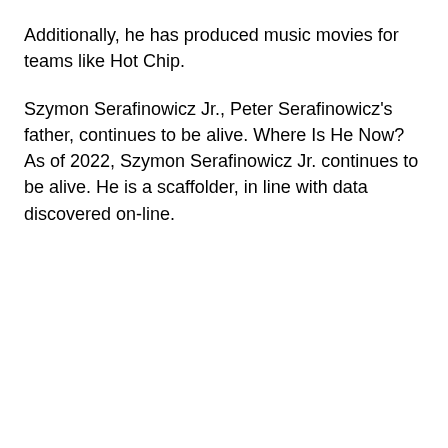Additionally, he has produced music movies for teams like Hot Chip.
Szymon Serafinowicz Jr., Peter Serafinowicz's father, continues to be alive. Where Is He Now? As of 2022, Szymon Serafinowicz Jr. continues to be alive. He is a scaffolder, in line with data discovered on-line.